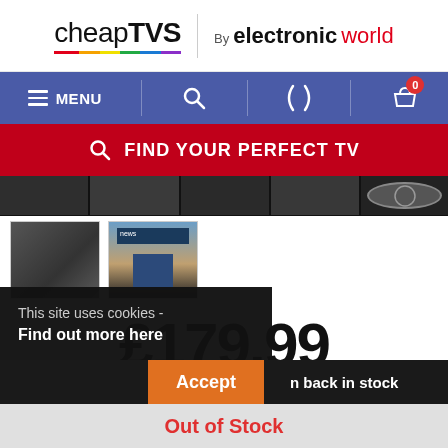[Figure (logo): cheapTVs by electronicworld logo with rainbow underline]
[Figure (screenshot): Navigation bar with MENU, search, phone, and cart (0) icons on blue background]
[Figure (screenshot): Red banner with magnifier icon and text FIND YOUR PERFECT TV]
[Figure (photo): Row of dark TV thumbnail product photos at top]
[Figure (photo): Two thumbnail images: dark TV bezel and TV screen showing news presenter]
£179.99
WAS £999.99
prices so low?
This site uses cookies - Find out more here
n back in stock
Accept
Out of Stock